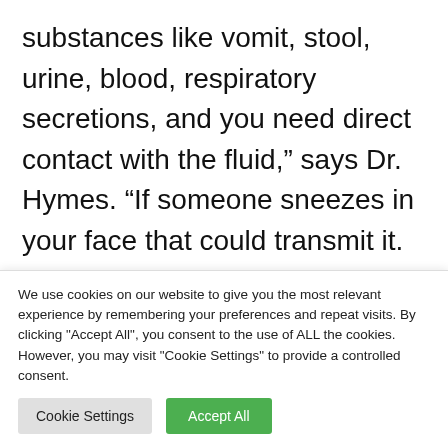substances like vomit, stool, urine, blood, respiratory secretions, and you need direct contact with the fluid,” says Dr. Hymes. “If someone sneezes in your face that could transmit it. However, the much more common transmission is in people who process the dead bodies, or who care for the sick.”
The Ebola outbreak has been contained in the West...
We use cookies on our website to give you the most relevant experience by remembering your preferences and repeat visits. By clicking "Accept All", you consent to the use of ALL the cookies. However, you may visit "Cookie Settings" to provide a controlled consent.